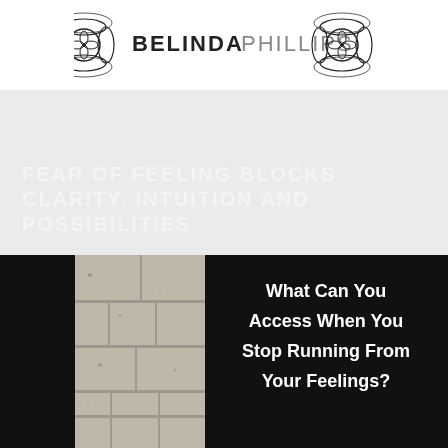[Figure (logo): Belinda Phillips logo with decorative swirl ornaments on left and right sides flanking the text BELINDA PHILLIPS]
FEAR OF FEELING BLOCKS CLARITY, INTUITION AND POSSIBILITIES
[Figure (photo): Black and white image with concrete wall texture on the left and black background on the right, overlaid with white bold text reading: What Can You Access When You Stop Running From Your Feelings?]